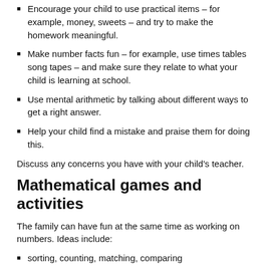Encourage your child to use practical items – for example, money, sweets – and try to make the homework meaningful.
Make number facts fun – for example, use times tables song tapes – and make sure they relate to what your child is learning at school.
Use mental arithmetic by talking about different ways to get a right answer.
Help your child find a mistake and praise them for doing this.
Discuss any concerns you have with your child's teacher.
Mathematical games and activities
The family can have fun at the same time as working on numbers. Ideas include:
sorting, counting, matching, comparing
using number songs and rhymes